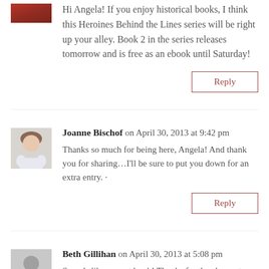[Figure (photo): Partial avatar photo of a person with red/auburn hair, cropped at top]
Hi Angela! If you enjoy historical books, I think this Heroines Behind the Lines series will be right up your alley. Book 2 in the series releases tomorrow and is free as an ebook until Saturday!
Reply
[Figure (photo): Avatar photo of Joanne Bischof, a woman with light brown hair sitting]
Joanne Bischof on April 30, 2013 at 9:42 pm
Thanks so much for being here, Angela! And thank you for sharing...I'll be sure to put you down for an extra entry. ·
Reply
[Figure (illustration): Generic gray avatar silhouette of a person]
Beth Gillihan on April 30, 2013 at 5:08 pm
Sounds like a great book! Thanks for the chance to